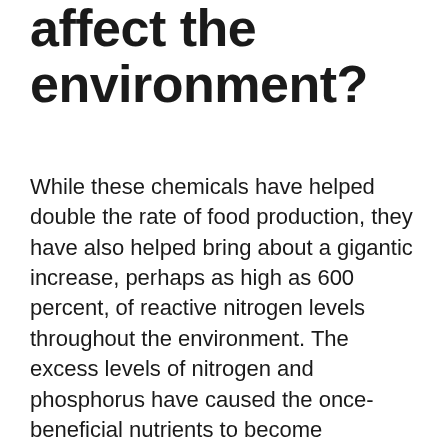affect the environment?
While these chemicals have helped double the rate of food production, they have also helped bring about a gigantic increase, perhaps as high as 600 percent, of reactive nitrogen levels throughout the environment. The excess levels of nitrogen and phosphorus have caused the once-beneficial nutrients to become pollutants. Roughly half the nitrogen in synthetic fertilizers escapes from the fields where it is applied, finding its way into the soil, air, water, and rainfall. After soil bacteria convert fertilizer nitrogen into nitrates, rainstorms or irrigation systems carry these toxins into groundwater and river systems. Accumulated nitrogen and